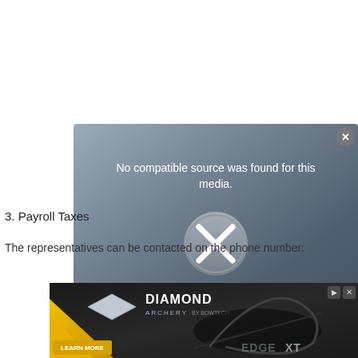[Figure (screenshot): Video player error overlay showing 'No compatible source was found for this media.' with an X icon and close button, over a dark gradient background]
3. Payroll Taxes
The representatives can be contacted on the phone number:
[Figure (screenshot): Diamond Archery advertisement banner showing a compound bow (Edge XT) with 'LEARN MORE' button on yellow/black background]